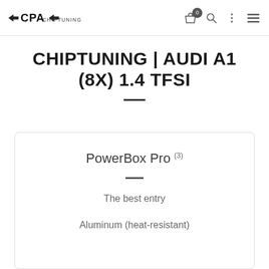CPA CHIPTUNING — header with logo and navigation icons
CHIPTUNING | AUDI A1 (8X) 1.4 TFSI
PowerBox Pro (3)
The best entry
Aluminum (heat-resistant)